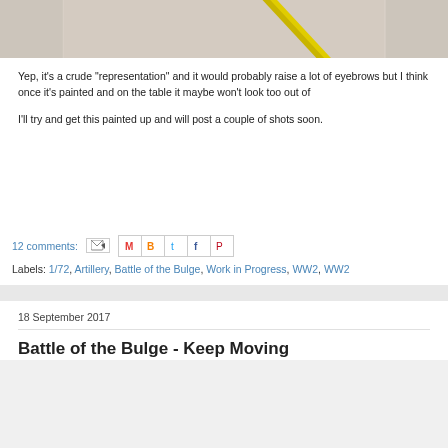[Figure (photo): Partial photo of a beige/tan surface with a yellow diagonal rod or stick visible, cropped at top of page]
Yep, it's a crude "representation" and it would probably raise a lot of eyebrows but I think once it's painted and on the table it maybe won't look too out of
I'll try and get this painted up and will post a couple of shots soon.
12 comments:
Labels: 1/72, Artillery, Battle of the Bulge, Work in Progress, WW2, WW2
18 September 2017
Battle of the Bulge - Keep Moving